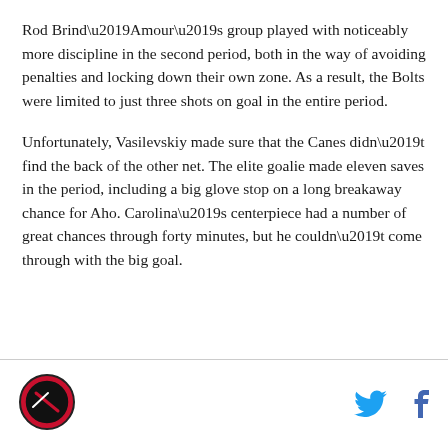Rod Brind’Amour’s group played with noticeably more discipline in the second period, both in the way of avoiding penalties and locking down their own zone. As a result, the Bolts were limited to just three shots on goal in the entire period.
Unfortunately, Vasilevskiy made sure that the Canes didn’t find the back of the other net. The elite goalie made eleven saves in the period, including a big glove stop on a long breakaway chance for Aho. Carolina’s centerpiece had a number of great chances through forty minutes, but he couldn’t come through with the big goal.
[Figure (logo): Circular logo with red and black colors, sports team emblem]